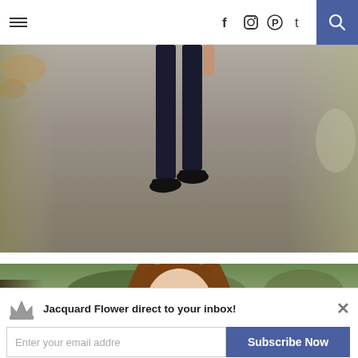≡  f  ⊙  ℗  t  🔍
[Figure (photo): Person walking toward camera on a road/driveway, showing legs in dark navy jeans and black flat shoes, hand partially visible, outdoors with autumn trees and grass edges visible]
[Figure (photo): Young woman with long reddish-brown hair wearing sunglasses and a striped floral top, standing outdoors on a residential street with hedges, trees and a brick building in the background]
Jacquard Flower direct to your inbox!
Enter your email addre
Subscribe Now